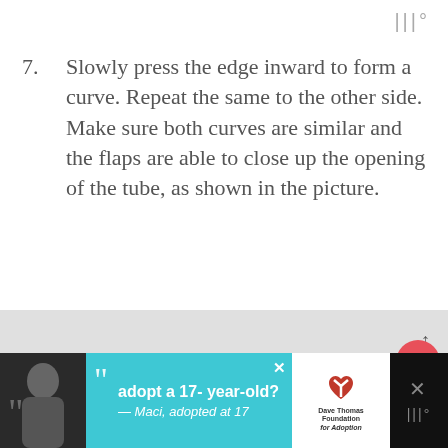|||°
7. Slowly press the edge inward to form a curve. Repeat the same to the other side. Make sure both curves are similar and the flaps are able to close up the opening of the tube, as shown in the picture.
[Figure (photo): Photo of a dark (black) folded material/tube with curved flaps, shown on a light grey/white background. UI overlays include a red heart button, a share button, and a 'What's Next: Bat Oreo Pops - How To ma...' panel.]
[Figure (screenshot): Advertisement banner at bottom: 'adopt a 17-year-old? — Maci, adopted at 17' with Dave Thomas Foundation for Adoption logo. Black and turquoise background with a photo of a young woman.]